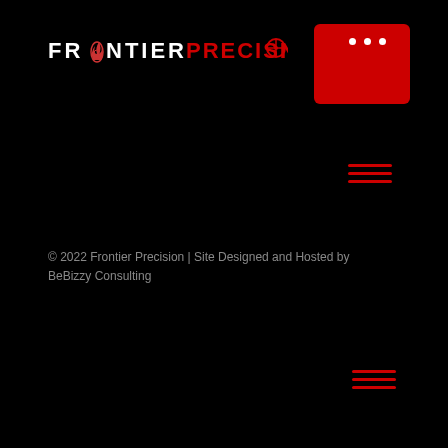[Figure (logo): Frontier Precision logo with white and red text on black background, with a flame/icon replacing the 'O' in Frontier]
[Figure (other): Red rounded rectangle with three white dots, resembling a UI menu or app icon]
[Figure (other): Red hamburger menu icon (three horizontal lines) in upper right area]
© 2022 Frontier Precision | Site Designed and Hosted by BeBizzy Consulting
[Figure (other): Red hamburger menu icon (three horizontal lines) in lower right area]